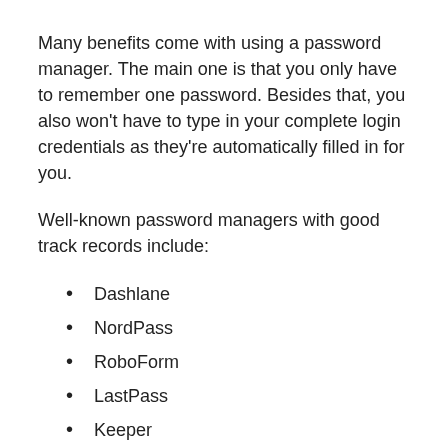Many benefits come with using a password manager. The main one is that you only have to remember one password. Besides that, you also won't have to type in your complete login credentials as they're automatically filled in for you.
Well-known password managers with good track records include:
Dashlane
NordPass
RoboForm
LastPass
Keeper
RememBear
KeyPass
Sticky Password